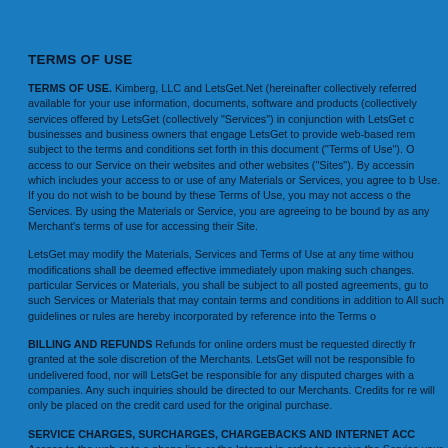TERMS OF USE
TERMS OF USE. Kimberg, LLC and LetsGet.Net (hereinafter collectively referred available for your use information, documents, software and products (collectively services offered by LetsGet (collectively "Services") in conjunction with LetsGet c businesses and business owners that engage LetsGet to provide web-based rem subject to the terms and conditions set forth in this document ("Terms of Use"). O access to our Service on their websites and other websites ("Sites"). By accessin which includes your access to or use of any Materials or Services, you agree to b Use. If you do not wish to be bound by these Terms of Use, you may not access o the Services. By using the Materials or Service, you are agreeing to be bound by as any Merchant's terms of use for accessing their Site.
LetsGet may modify the Materials, Services and Terms of Use at any time withou modifications shall be deemed effective immediately upon making such changes. particular Services or Materials, you shall be subject to all posted agreements, gu to such Services or Materials that may contain terms and conditions in addition to All such guidelines or rules are hereby incorporated by reference into the Terms o
BILLING AND REFUNDS Refunds for online orders must be requested directly fr granted at the sole discretion of the Merchants. LetsGet will not be responsible fo undelivered food, nor will LetsGet be responsible for any disputed charges with a companies. Any such inquiries should be directed to our Merchants. Credits for re will only be placed on the credit card used for the original purchase.
SERVICE CHARGES, SURCHARGES, CHARGEBACKS AND INTERNET ACC Access to the web or to a phone line or the Internet in order to receive the Service your Service provider. LetsGet is not responsible for any monetary or other losse